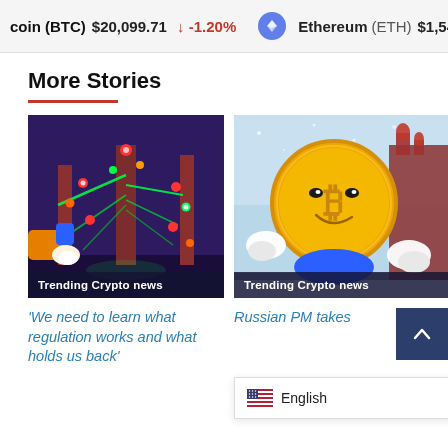Bitcoin (BTC) $20,099.71 ↓ -1.20%   Ethereum (ETH) $1,548.5
More Stories
[Figure (illustration): Cartoon illustration of a Christmas tree with colorful lights and robotic/industrial elements, character on the left. Label: Trending Crypto news]
Trending Crypto news
[Figure (illustration): Cartoon illustration of a large gold crypto coin character with a smirk, set against a winter/snowy Russian cityscape background. Label: Trending Crypto news]
Trending Crypto news
'We need to learn what regulation works and what holds us back'
Russian PM takes
English